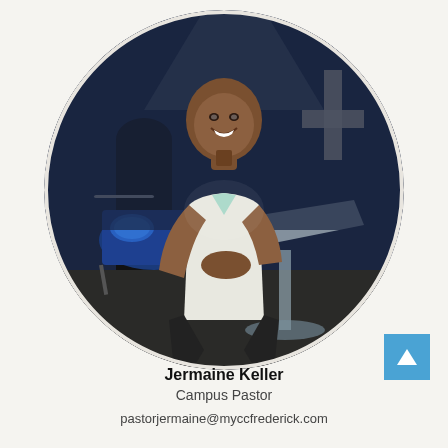[Figure (photo): Circular cropped photo of Jermaine Keller, a bald Black man in a white polo shirt, leaning on a clear podium/lectern in a church setting with blue drum kit and cross visible in the background.]
Jermaine Keller
Campus Pastor
pastorjermaine@myccfrederick.com